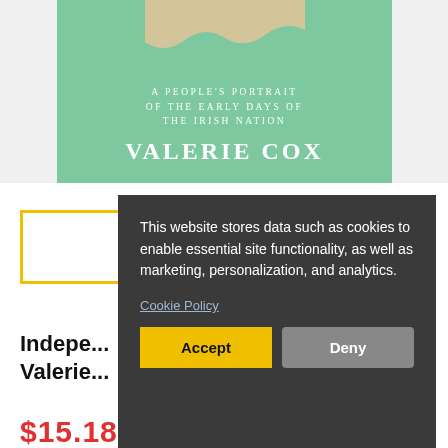[Figure (illustration): Book cover with green background, torn paper at top, subtitle 'A PEOPLE'S PORTRAIT OF THE EARLY DAYS OF THE IRISH NATION' and author name 'VALERIE COX']
Indepe... Valerie...
This website stores data such as cookies to enable essential site functionality, as well as marketing, personalization, and analytics.
Cookie Policy
Accept
Deny
$15.18